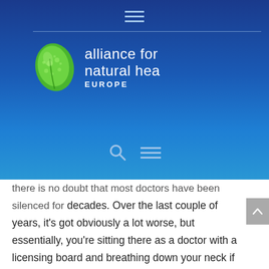[Figure (logo): Alliance for Natural Health Europe logo — green leaf with water droplets on left, white text 'alliance for natural health EUROPE' on right, on blue gradient background]
there is no doubt that most doctors have been silenced for decades. Over the last couple of years, it's got obviously a lot worse, but essentially, you're sitting there as a doctor with a licensing board and breathing down your neck if you step out of line. Essentially what what's happened is we've moved a long way from the kind of doctrine of old where the family physician had this, you very confidential therapeutic relationship with his or her patient to a